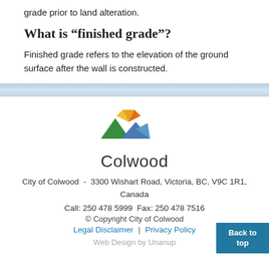grade prior to land alteration.
What is "finished grade"?
Finished grade refers to the elevation of the ground surface after the wall is constructed.
[Figure (logo): City of Colwood logo with colorful mountain/pinwheel graphic above the word 'Colwood']
City of Colwood  -  3300 Wishart Road, Victoria, BC, V9C 1R1, Canada
Call: 250 478 5999 Fax: 250 478 7516
© Copyright City of Colwood
Legal Disclaimer | Privacy Policy
Web Design by Unanup